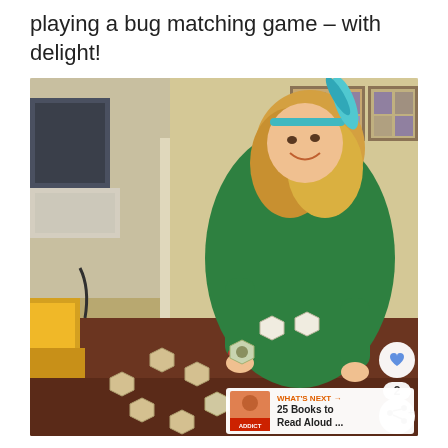playing a bug matching game – with delight!
[Figure (photo): A young blonde girl wearing a green shirt and a teal headband with a feather/bow is smiling and playing a bug matching game on a brown tablecloth. There are hexagonal game pieces scattered on the table. In the background is a dining room with chairs and picture frames on the wall. A yellow box is visible on the left edge of the table.]